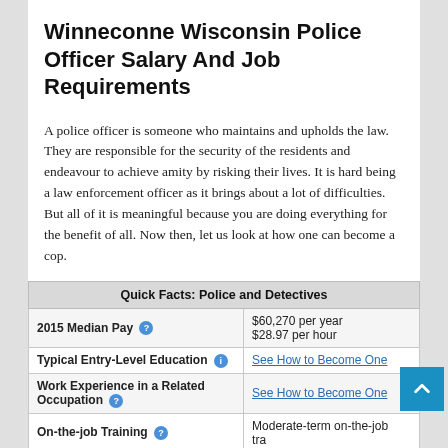Winneconne Wisconsin Police Officer Salary And Job Requirements
A police officer is someone who maintains and upholds the law. They are responsible for the security of the residents and endeavour to achieve amity by risking their lives. It is hard being a law enforcement officer as it brings about a lot of difficulties. But all of it is meaningful because you are doing everything for the benefit of all. Now then, let us look at how one can become a cop.
| Quick Facts: Police and Detectives |  |
| --- | --- |
| 2015 Median Pay | $60,270 per year
$28.97 per hour |
| Typical Entry-Level Education | See How to Become One |
| Work Experience in a Related Occupation | See How to Become One |
| On-the-job Training | Moderate-term on-the-job training |
| Number of Jobs, 2014 | 806,400 |
| Job Outlook, 2014-24 | 4% (Slower than average) |
| Employment Change, 2014-24 | 33,100 |